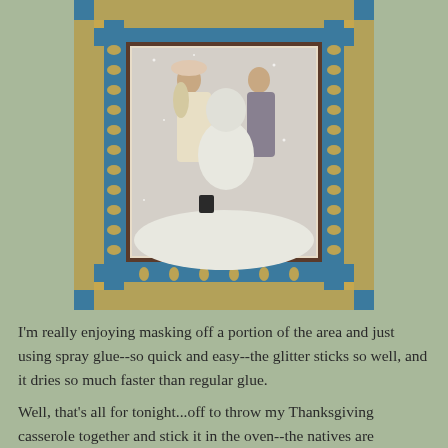[Figure (photo): A decorative framed picture showing two children in winter clothing in a snowy scene. The frame is ornate with teal/blue fabric, gold glitter, and decorative scroll-like embellishments around the border.]
I'm really enjoying masking off a portion of the area and just using spray glue--so quick and easy--the glitter sticks so well, and it dries so much faster than regular glue.
Well, that's all for tonight...off to throw my Thanksgiving casserole together and stick it in the oven--the natives are